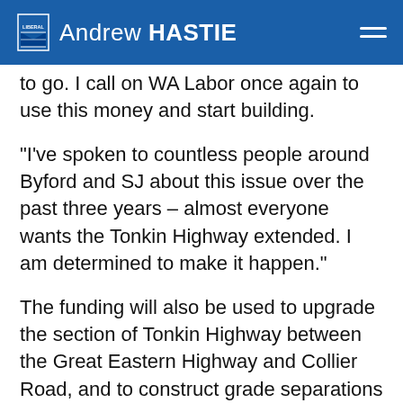Andrew HASTIE
to go. I call on WA Labor once again to use this money and start building.
“I’ve spoken to countless people around Byford and SJ about this issue over the past three years – almost everyone wants the Tonkin Highway extended. I am determined to make it happen.”
The funding will also be used to upgrade the section of Tonkin Highway between the Great Eastern Highway and Collier Road, and to construct grade separations at the Kelvin.